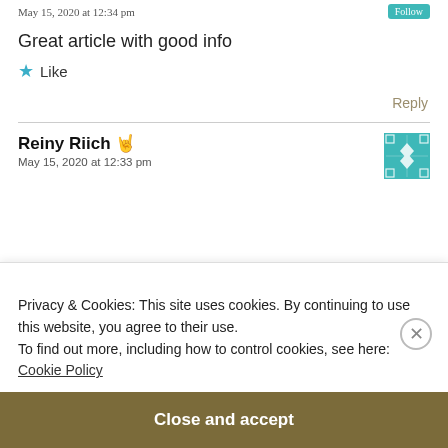May 15, 2020 at 12:34 pm
Great article with good info
★ Like
Reply
Reiny Riich 🤘
May 15, 2020 at 12:33 pm
Privacy & Cookies: This site uses cookies. By continuing to use this website, you agree to their use.
To find out more, including how to control cookies, see here: Cookie Policy
Close and accept